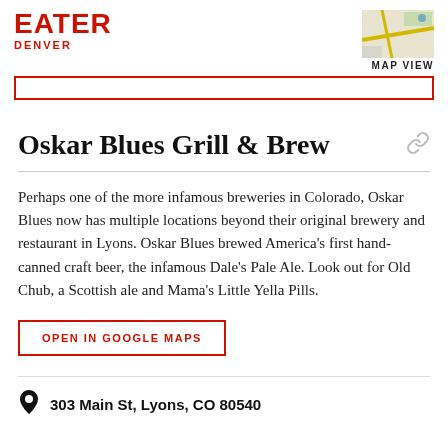EATER DENVER
Oskar Blues Grill & Brew
Perhaps one of the more infamous breweries in Colorado, Oskar Blues now has multiple locations beyond their original brewery and restaurant in Lyons. Oskar Blues brewed America's first hand-canned craft beer, the infamous Dale's Pale Ale. Look out for Old Chub, a Scottish ale and Mama's Little Yella Pills.
OPEN IN GOOGLE MAPS
303 Main St, Lyons, CO 80540